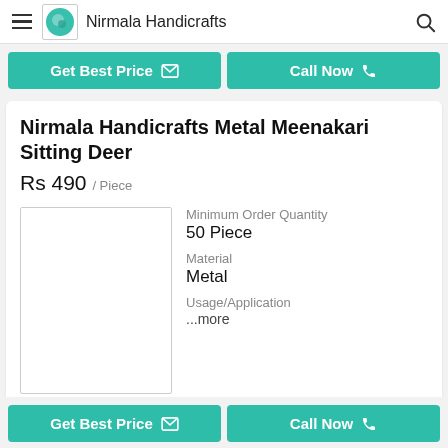Nirmala Handicrafts
Get Best Price | Call Now
Nirmala Handicrafts Metal Meenakari Sitting Deer
Rs 490 / Piece
[Figure (photo): Product image placeholder box (white rectangle with border)]
Minimum Order Quantity
50 Piece
Material
Metal
Usage/Application
...more
Get Best Price | Call Now